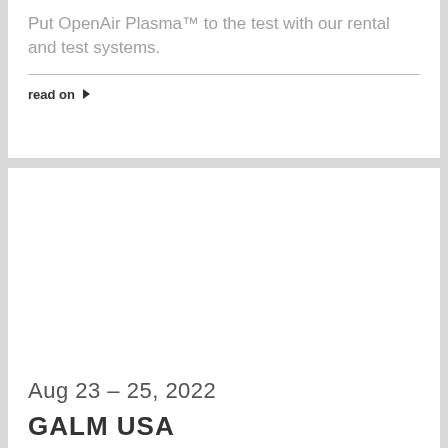Put OpenAir Plasma™ to the test with our rental and test systems.
read on ▶
Aug 23 – 25, 2022
GALM USA